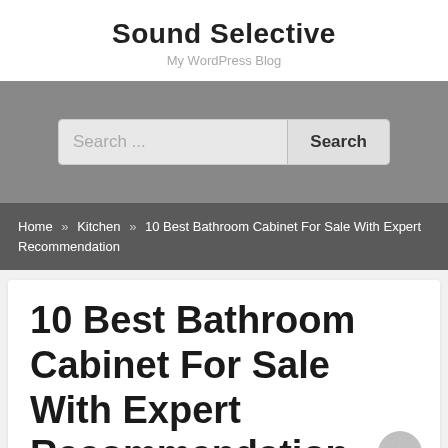Sound Selective
My WordPress Blog
[Figure (screenshot): Search bar with input field labeled 'Search ...' and a 'Search' button on a gray background]
Home » Kitchen » 10 Best Bathroom Cabinet For Sale With Expert Recommendation
10 Best Bathroom Cabinet For Sale With Expert Recommendation